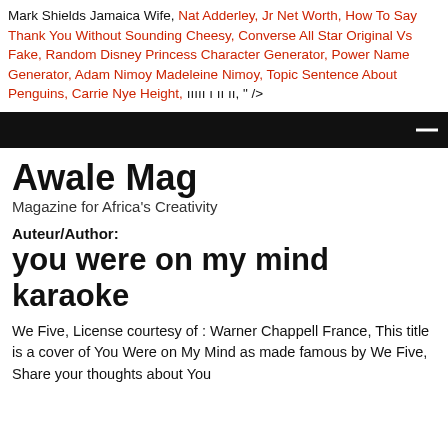Mark Shields Jamaica Wife, Nat Adderley, Jr Net Worth, How To Say Thank You Without Sounding Cheesy, Converse All Star Original Vs Fake, Random Disney Princess Character Generator, Power Name Generator, Adam Nimoy Madeleine Nimoy, Topic Sentence About Penguins, Carrie Nye Height, ııııı ı ıı ıı, " />
[Figure (other): Black navigation bar with a white dash/hamburger menu icon on the right]
Awale Mag
Magazine for Africa's Creativity
Auteur/Author:
you were on my mind karaoke
We Five, License courtesy of : Warner Chappell France, This title is a cover of You Were on My Mind as made famous by We Five, Share your thoughts about You